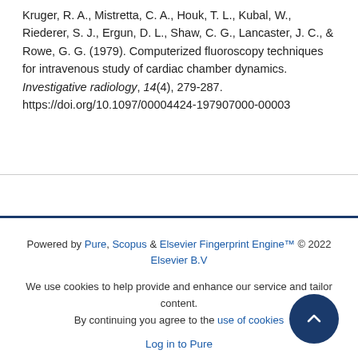Kruger, R. A., Mistretta, C. A., Houk, T. L., Kubal, W., Riederer, S. J., Ergun, D. L., Shaw, C. G., Lancaster, J. C., & Rowe, G. G. (1979). Computerized fluoroscopy techniques for intravenous study of cardiac chamber dynamics. Investigative radiology, 14(4), 279-287. https://doi.org/10.1097/00004424-197907000-00003
Powered by Pure, Scopus & Elsevier Fingerprint Engine™ © 2022 Elsevier B.V

We use cookies to help provide and enhance our service and tailor content. By continuing you agree to the use of cookies

Log in to Pure

About web accessibility

Contact us